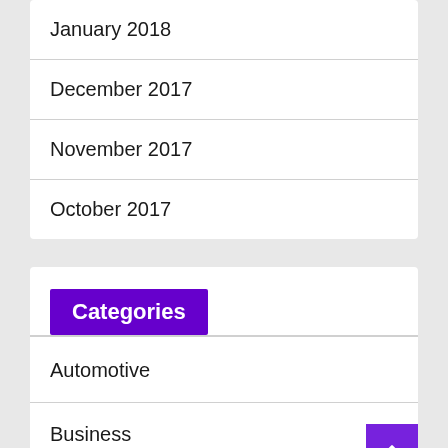January 2018
December 2017
November 2017
October 2017
Categories
Automotive
Business